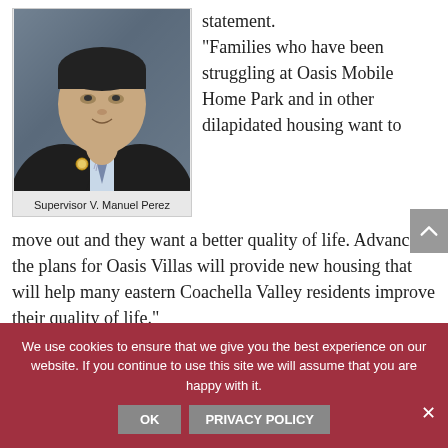[Figure (photo): Headshot photo of Supervisor V. Manuel Perez in a dark suit with tie and a lapel pin]
Supervisor V. Manuel Perez
statement. “Families who have been struggling at Oasis Mobile Home Park and in other dilapidated housing want to move out and they want a better quality of life. Advancing the plans for Oasis Villas will provide new housing that will help many eastern Coachella Valley residents improve their quality of life.”
Oasis Villas is planned to be built in the community of ...
apartment buildings ... with amenities... apartments ... 1,500 square-foot commercial space that envisions an onsite ...
We use cookies to ensure that we give you the best experience on our website. If you continue to use this site we will assume that you are happy with it.